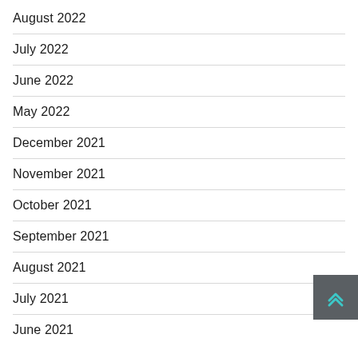August 2022
July 2022
June 2022
May 2022
December 2021
November 2021
October 2021
September 2021
August 2021
July 2021
June 2021